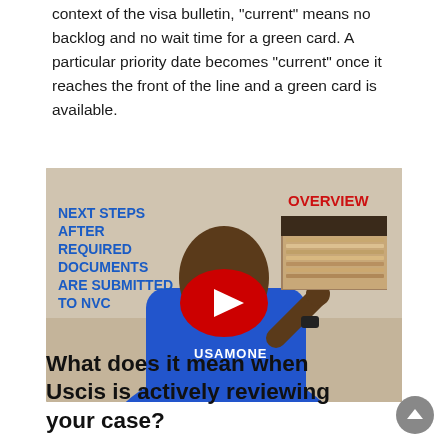context of the visa bulletin, "current" means no backlog and no wait time for a green card. A particular priority date becomes "current" once it reaches the front of the line and a green card is available.
[Figure (screenshot): YouTube video thumbnail showing a man in a blue 'USAMONE' shirt with text 'NEXT STEPS AFTER REQUIRED DOCUMENTS ARE SUBMITTED TO NVC' in blue on the left and 'OVERVIEW' in red on the top right, with a red YouTube play button in the center and an image of stacked papers/files on the right.]
What does it mean when Uscis is actively reviewing your case?